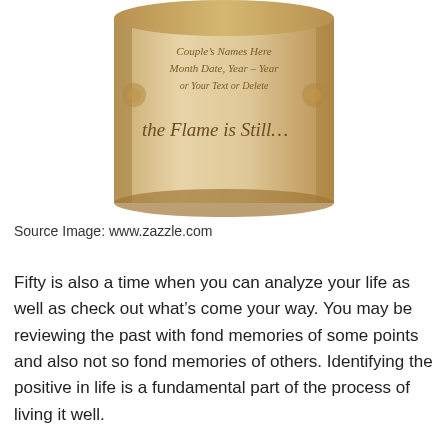[Figure (photo): A cylindrical candle or container with cursive text on it reading: Couple's Names Here, Month Date, Year - Year, or Your Text or Delete, the Flame is Still...]
Source Image: www.zazzle.com
Fifty is also a time when you can analyze your life as well as check out what’s come your way. You may be reviewing the past with fond memories of some points and also not so fond memories of others. Identifying the positive in life is a fundamental part of the process of living it well.